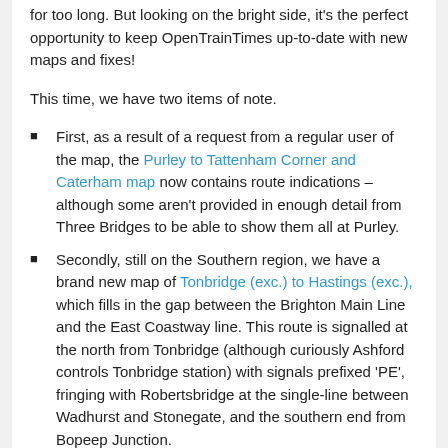for too long. But looking on the bright side, it's the perfect opportunity to keep OpenTrainTimes up-to-date with new maps and fixes!
This time, we have two items of note.
First, as a result of a request from a regular user of the map, the Purley to Tattenham Corner and Caterham map now contains route indications – although some aren't provided in enough detail from Three Bridges to be able to show them all at Purley.
Secondly, still on the Southern region, we have a brand new map of Tonbridge (exc.) to Hastings (exc.), which fills in the gap between the Brighton Main Line and the East Coastway line. This route is signalled at the north from Tonbridge (although curiously Ashford controls Tonbridge station) with signals prefixed 'PE', fringing with Robertsbridge at the single-line between Wadhurst and Stonegate, and the southern end from Bopeep Junction.
We're also hard at work on the Wembley Freight map,